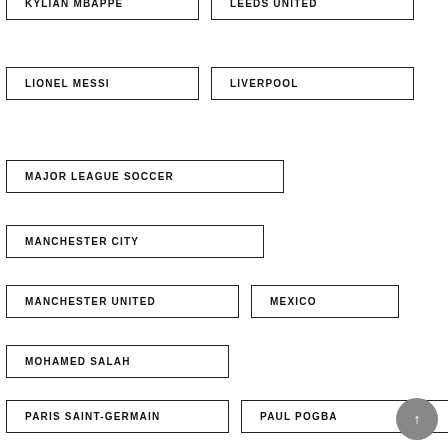KYLIAN MBAPPE
LEEDS UNITED
LIONEL MESSI
LIVERPOOL
MAJOR LEAGUE SOCCER
MANCHESTER CITY
MANCHESTER UNITED
MEXICO
MOHAMED SALAH
PARIS SAINT-GERMAIN
PAUL POGBA
REAL MADRID
SOCCER
SOCCER TRANSFERS
SPANISH LALIGA